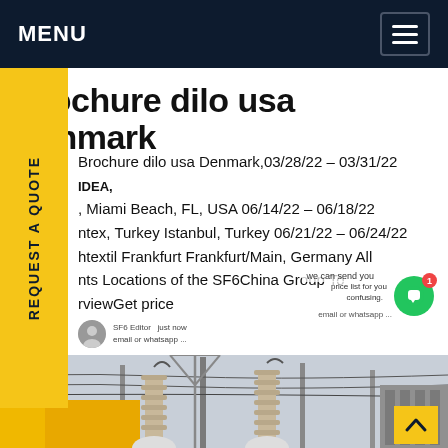MENU
Brochure dilo usa Denmark
Brochure dilo usa Denmark,03/28/22 – 03/31/22 IDEA, Miami Beach, FL, USA 06/14/22 – 06/18/22 ntex, Turkey Istanbul, Turkey 06/21/22 – 06/24/22 htextil Frankfurt Frankfurt/Main, Germany All nts Locations of the SF6China Group To rviewGet price
[Figure (photo): Electrical substation with high-voltage towers, insulators, and power lines against a light sky]